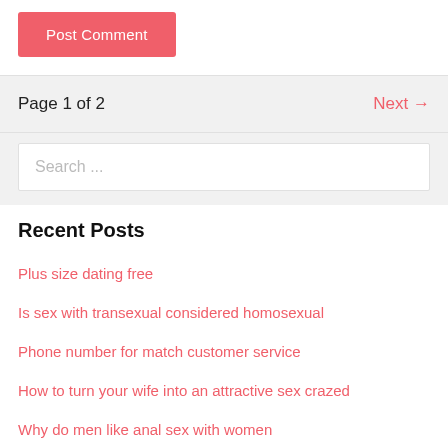Post Comment
Page 1 of 2
Next →
Search ...
Recent Posts
Plus size dating free
Is sex with transexual considered homosexual
Phone number for match customer service
How to turn your wife into an attractive sex crazed
Why do men like anal sex with women